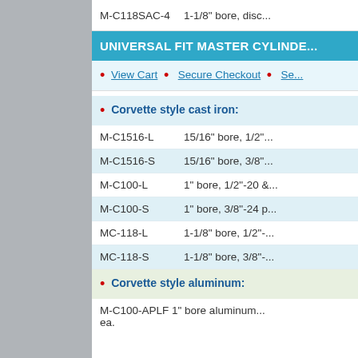M-C118SAC-4    1-1/8" bore, disc...
UNIVERSAL FIT MASTER CYLINDE...
View Cart • Secure Checkout • Se...
Corvette style cast iron:
| Part Number | Description |
| --- | --- |
| M-C1516-L | 15/16" bore, 1/2"... |
| M-C1516-S | 15/16" bore, 3/8"... |
| M-C100-L | 1" bore, 1/2"-20 &... |
| M-C100-S | 1" bore, 3/8"-24 p... |
| MC-118-L | 1-1/8" bore, 1/2"... |
| MC-118-S | 1-1/8" bore, 3/8"... |
Corvette style aluminum:
| Part Number | Description |
| --- | --- |
| M-C100-APLF | 1" bore aluminum... ea. |